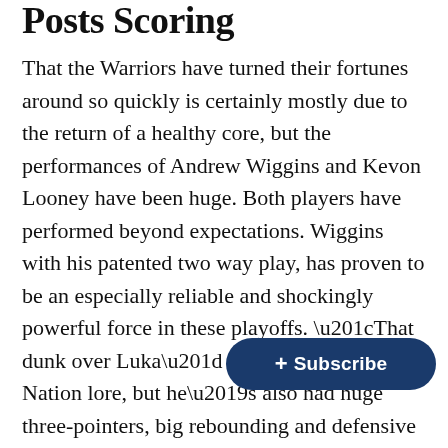Posts Scoring
That the Warriors have turned their fortunes around so quickly is certainly mostly due to the return of a healthy core, but the performances of Andrew Wiggins and Kevon Looney have been huge. Both players have performed beyond expectations. Wiggins with his patented two way play, has proven to be an especially reliable and shockingly powerful force in these playoffs. “That dunk over Luka” is going down in Dub Nation lore, but he’s also had huge three-pointers, big rebounding and defensive plays. Against the Celtics, he’s going to be called on to defend Tatum, and part of that assignment will be forcing him to play both ends of the court, just as hard as Wiggins does. Wiggins is also going to be one of the most forceful [obscured] the Celtics find themselves a little too attentive towards S...